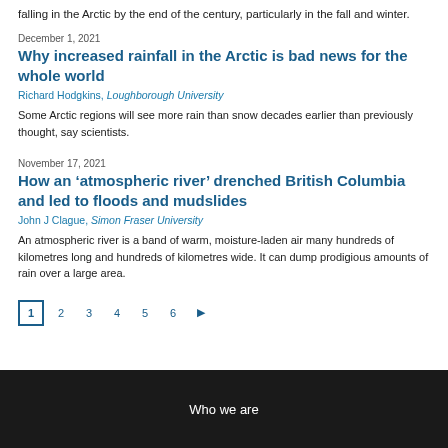falling in the Arctic by the end of the century, particularly in the fall and winter.
December 1, 2021
Why increased rainfall in the Arctic is bad news for the whole world
Richard Hodgkins, Loughborough University
Some Arctic regions will see more rain than snow decades earlier than previously thought, say scientists.
November 17, 2021
How an ‘atmospheric river’ drenched British Columbia and led to floods and mudslides
John J Clague, Simon Fraser University
An atmospheric river is a band of warm, moisture-laden air many hundreds of kilometres long and hundreds of kilometres wide. It can dump prodigious amounts of rain over a large area.
Who we are